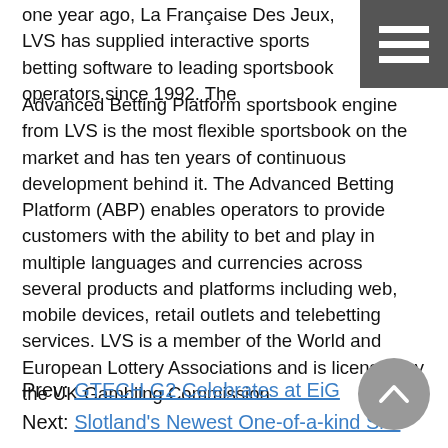one year ago, La Française Des Jeux, LVS has supplied interactive sports betting software to leading sportsbook operators since 1992. The Advanced Betting Platform sportsbook engine from LVS is the most flexible sportsbook on the market and has ten years of continuous development behind it. The Advanced Betting Platform (ABP) enables operators to provide customers with the ability to bet and play in multiple languages and currencies across several products and platforms including web, mobile devices, retail outlets and telebetting services. LVS is a member of the World and European Lottery Associations and is licensed by the UK Gambling Commission.
Prev: GTECH G2 Celebrates at EiG
Next: Slotland's Newest One-of-a-kind Slot